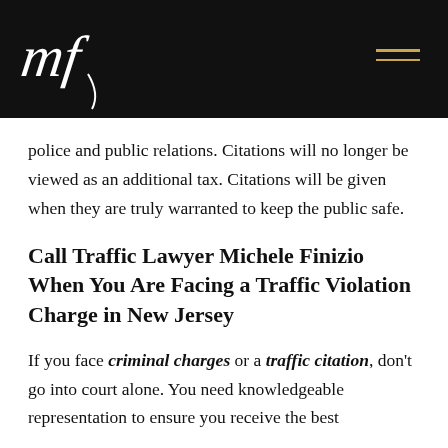[Figure (logo): Stylized 'mf' script logo in white on black background, law firm logo for Michele Finizio]
police and public relations.  Citations will no longer be viewed as an additional tax.  Citations will be given when they are truly warranted to keep the public safe.
Call Traffic Lawyer Michele Finizio When You Are Facing a Traffic Violation Charge in New Jersey
If you face criminal charges or a traffic citation, don't go into court alone. You need knowledgeable representation to ensure you receive the best